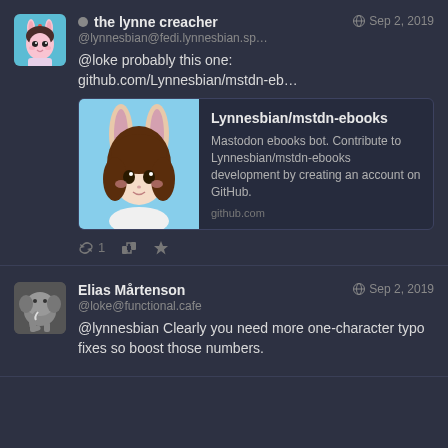[Figure (screenshot): First post from 'the lynne creacher' (@lynnesbian@fedi.lynnesbian.sp...) on Sep 2, 2019, with avatar, text '@loke probably this one: github.com/Lynnesbian/mstdn-eb...', a link preview card for Lynnesbian/mstdn-ebooks GitHub repo, and action icons.]
[Figure (screenshot): Second post from 'Elias Mårtenson' (@loke@functional.cafe) on Sep 2, 2019, with elephant avatar, text '@lynnesbian Clearly you need more one-character typo fixes so boost those numbers.']